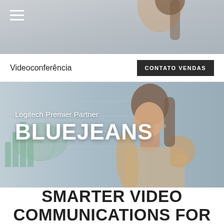[Figure (photo): Top navigation bar with partially visible woman in background, blurred/muted tones]
Videoconferência
CONTATO VENDAS
[Figure (photo): Hero image of a woman with hand on chin thinking, office/whiteboard background with charts visible]
Logitech Premier Partner
BLUEJEANS
SMARTER VIDEO COMMUNICATIONS FOR